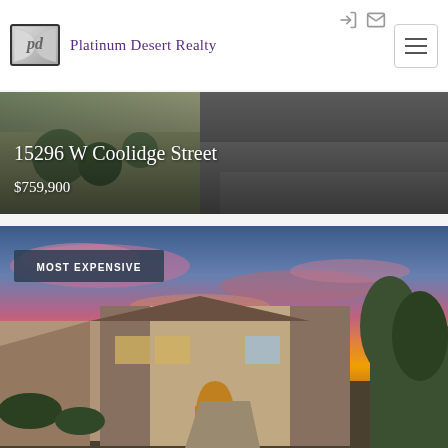[Figure (logo): Platinum Desert Realty logo with stylized 'pd' monogram in silver/metallic style]
Platinum Desert Realty
[Figure (photo): Hero banner showing a desert home with overlaid text: address '15296 W Coolidge Street' and price '$759,900'. Background shows a tan/grey house exterior with desert landscaping.]
15296 W Coolidge Street
$759,900
[Figure (photo): Luxury desert home at sunset with dramatic pink and orange sky. Stone and stucco exterior with arched front entry and warm interior lighting. Badge labeled 'MOST EXPENSIVE' in upper left corner.]
MOST EXPENSIVE